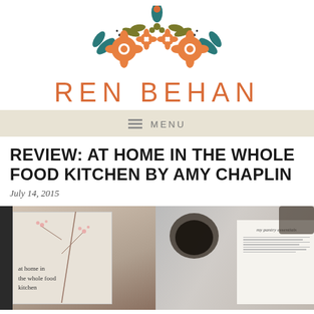[Figure (logo): Ren Behan blog logo with decorative floral/folk art illustration in orange, teal, and olive green above the site name]
REN BEHAN
≡ MENU
REVIEW: AT HOME IN THE WHOLE FOOD KITCHEN BY AMY CHAPLIN
July 14, 2015
[Figure (photo): Two-panel photo: left shows the cover of 'at home in the whole food kitchen' cookbook with cherry blossom branches; right shows an open page of the book with text 'my pantry essentials']